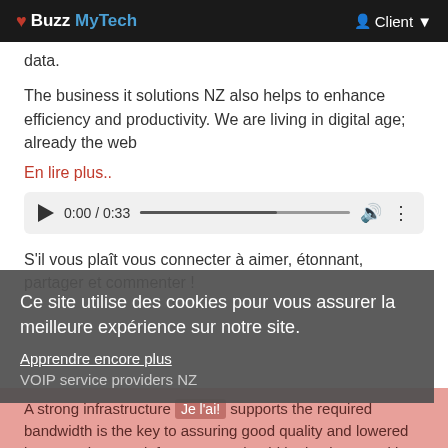Buzz MyTech  Client
data.
The business it solutions NZ also helps to enhance efficiency and productivity. We are living in digital age; already the web
En lire plus..
[Figure (other): Audio player showing 0:00 / 0:33 with play button, progress bar, volume and options icons]
S'il vous plaît vous connecter à aimer, étonnant, partager et commenter !
Ce site utilise des cookies pour vous assurer la meilleure expérience sur notre site.
Apprendre encore plus
VOIP service providers NZ
Je l'ai!
A strong infrastructure that supports the required bandwidth is the key to assuring good quality and lowered latency. The VoIP infrastructure should be implemented by VOIP service